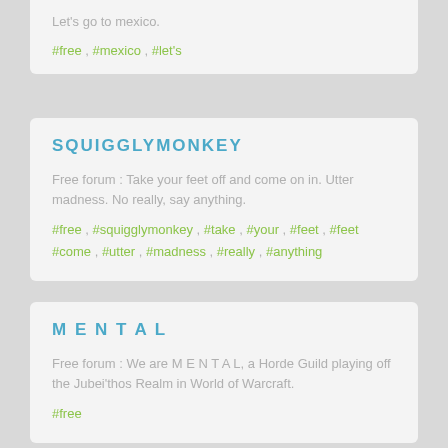Let's go to mexico.
#free , #mexico , #let's
SQUIGGLYMONKEY
Free forum : Take your feet off and come on in. Utter madness. No really, say anything.
#free , #squigglymonkey , #take , #your , #feet , #come , #utter , #madness , #really , #anything
M E N T A L
Free forum : We are M E N T A L, a Horde Guild playing off the Jubei'thos Realm in World of Warcraft.
#free